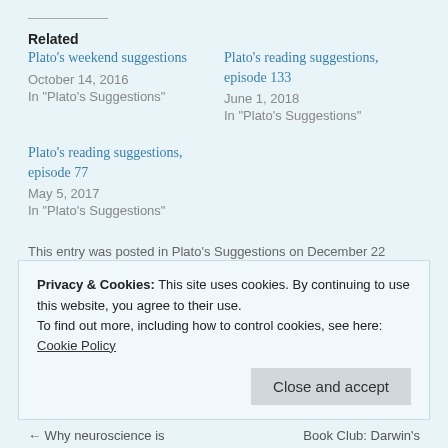Related
Plato's weekend suggestions
October 14, 2016
In "Plato's Suggestions"
Plato's reading suggestions, episode 133
June 1, 2018
In "Plato's Suggestions"
Plato's reading suggestions, episode 77
May 5, 2017
In "Plato's Suggestions"
This entry was posted in Plato's Suggestions on December 22
Privacy & Cookies: This site uses cookies. By continuing to use this website, you agree to their use.
To find out more, including how to control cookies, see here: Cookie Policy
Close and accept
Why neuroscience is
Book Club: Darwin's